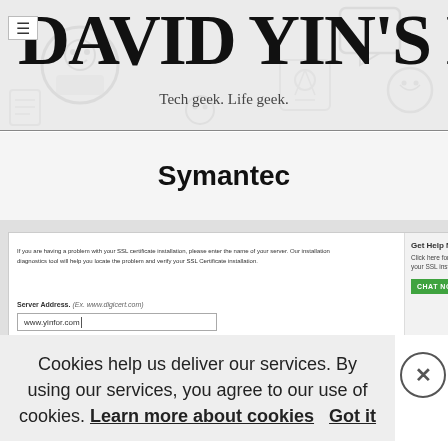DAVID YIN'S BLOG
Tech geek. Life geek.
Symantec
[Figure (screenshot): Screenshot of a Symantec SSL installation diagnostics tool webpage showing a server address input field with 'www.yinfor.com' entered, a 'Check for common vulnerabilities' checkbox, a 'CHECK SERVER' button, and a chat support panel on the right with a green 'CHAT NOW' button.]
Cookies help us deliver our services. By using our services, you agree to our use of cookies. Learn more about cookies Got it